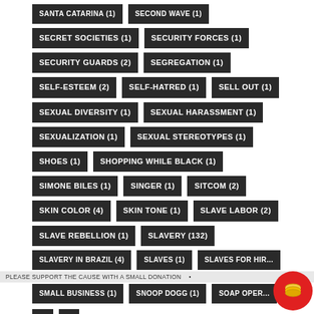SANTA CATARINA (1)
SECOND WAVE (1)
SECRET SOCIETIES (1)
SECURITY FORCES (1)
SECURITY GUARDS (2)
SEGREGATION (1)
SELF-ESTEEM (2)
SELF-HATRED (1)
SELL OUT (1)
SEXUAL DIVERSITY (1)
SEXUAL HARASSMENT (1)
SEXUALIZATION (1)
SEXUAL STEREOTYPES (1)
SHOES (1)
SHOPPING WHILE BLACK (1)
SIMONE BILES (1)
SINGER (1)
SITCOM (2)
SKIN COLOR (4)
SKIN TONE (1)
SLAVE LABOR (2)
SLAVE REBELLION (1)
SLAVERY (132)
SLAVERY IN BRAZIL (4)
SLAVES (1)
SLAVES FOR HIRE
PLEASE SUPPORT THE CAUSE WITH A SMALL DONATION
SMALL BUSINESS (1)
SNOOP DOGG (1)
SOAP OPERA